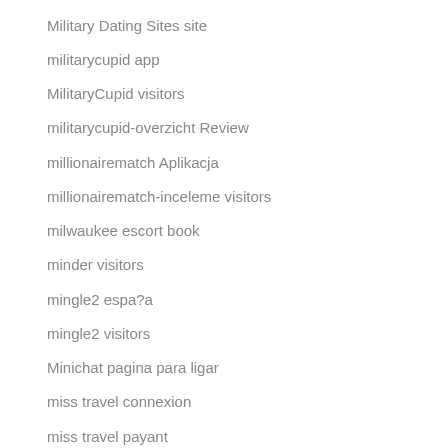Military Dating Sites site
militarycupid app
MilitaryCupid visitors
militarycupid-overzicht Review
millionairematch Aplikacja
millionairematch-inceleme visitors
milwaukee escort book
minder visitors
mingle2 espa?a
mingle2 visitors
Minichat pagina para ligar
miss travel connexion
miss travel payant
miss travel review
Miss Travel sites